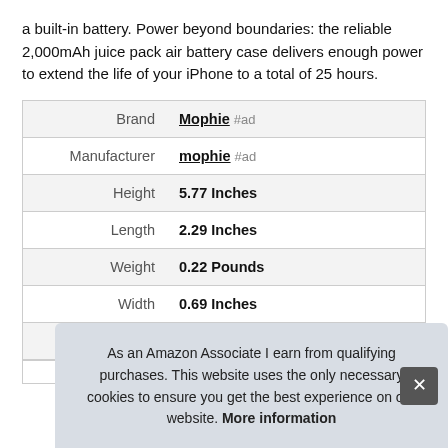a built-in battery. Power beyond boundaries: the reliable 2,000mAh juice pack air battery case delivers enough power to extend the life of your iPhone to a total of 25 hours.
| Attribute | Value |
| --- | --- |
| Brand | Mophie #ad |
| Manufacturer | mophie #ad |
| Height | 5.77 Inches |
| Length | 2.29 Inches |
| Weight | 0.22 Pounds |
| Width | 0.69 Inches |
| P |  |
As an Amazon Associate I earn from qualifying purchases. This website uses the only necessary cookies to ensure you get the best experience on our website. More information